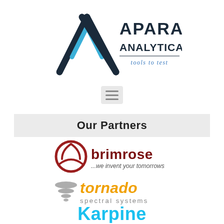[Figure (logo): Apara Analyticals logo with geometric A-shape in dark navy and cyan/blue, with company name 'APARA ANALYTICALS' and tagline 'tools to test']
[Figure (other): Hamburger menu icon (three horizontal lines) on a gray background]
Our Partners
[Figure (logo): Brimrose logo: circular red icon with stylized symbol, text 'brimrose' in dark red/maroon, tagline '...we invent your tomorrows']
[Figure (logo): Tornado Spectral Systems logo: gray tornado/swirl icon, 'tornado' in orange italic, 'spectral systems' in gray]
[Figure (logo): Karpine logo: 'Karpine' text in cyan/sky blue bold font]